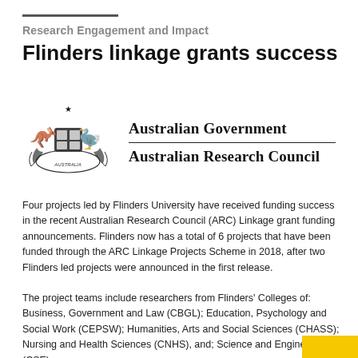Research Engagement and Impact
Flinders linkage grants success
[Figure (logo): Australian Government Australian Research Council logo with coat of arms (kangaroo and emu with shield) on the left and bold text 'Australian Government' above a horizontal rule and 'Australian Research Council' below on the right.]
Four projects led by Flinders University have received funding success in the recent Australian Research Council (ARC) Linkage grant funding announcements. Flinders now has a total of 6 projects that have been funded through the ARC Linkage Projects Scheme in 2018, after two Flinders led projects were announced in the first release.
The project teams include researchers from Flinders' Colleges of: Business, Government and Law (CBGL); Education, Psychology and Social Work (CEPSW); Humanities, Arts and Social Sciences (CHASS); Nursing and Health Sciences (CNHS), and; Science and Engineering (CSE).